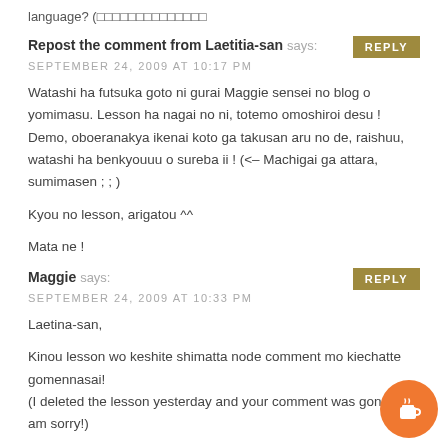language? (□□□□□□□□□□□□□□
Repost the comment from Laetitia-san says:
SEPTEMBER 24, 2009 AT 10:17 PM
Watashi ha futsuka goto ni gurai Maggie sensei no blog o yomimasu. Lesson ha nagai no ni, totemo omoshiroi desu ! Demo, oboeranakya ikenai koto ga takusan aru no de, raishuu, watashi ha benkyouuu o sureba ii ! (<– Machigai ga attara, sumimasen ; ; )
Kyou no lesson, arigatou ^^
Mata ne !
Maggie says:
SEPTEMBER 24, 2009 AT 10:33 PM
Laetina-san,
Kinou lesson wo keshite shimatta node comment mo kiechatte gomennasai! (I deleted the lesson yesterday and your comment was gone. I am sorry!)